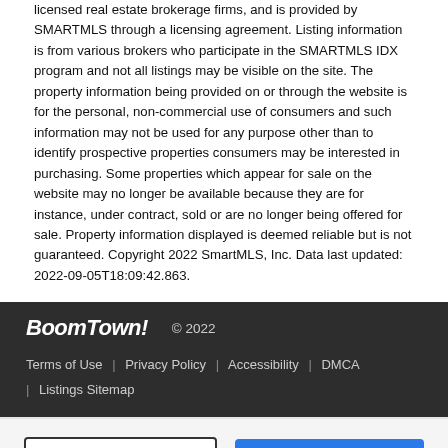licensed real estate brokerage firms, and is provided by SMARTMLS through a licensing agreement. Listing information is from various brokers who participate in the SMARTMLS IDX program and not all listings may be visible on the site. The property information being provided on or through the website is for the personal, non-commercial use of consumers and such information may not be used for any purpose other than to identify prospective properties consumers may be interested in purchasing. Some properties which appear for sale on the website may no longer be available because they are for instance, under contract, sold or are no longer being offered for sale. Property information displayed is deemed reliable but is not guaranteed. Copyright 2022 SmartMLS, Inc. Data last updated: 2022-09-05T18:09:42.863.
BoomTown! © 2022 | Terms of Use | Privacy Policy | Accessibility | DMCA | Listings Sitemap
Take a Tour   Ask A Question